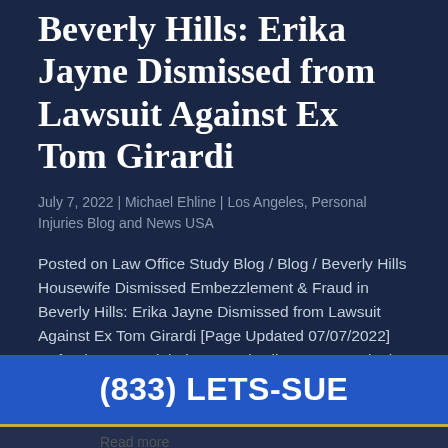Beverly Hills: Erika Jayne Dismissed from Lawsuit Against Ex Tom Girardi
July 7, 2022 | Michael Ehline | Los Angeles, Personal Injuries Blog and News USA
Posted on Law Office Study Blog / Blog / Beverly Hills Housewife Dismissed Embezzlement & Fraud in Beverly Hills: Erika Jayne Dismissed from Lawsuit Against Ex Tom Girardi [Page Updated 07/07/2022] Defendants EJ Global LLC and Erika Jayne are in the clear; or
(833) LETS-SUE
Read more